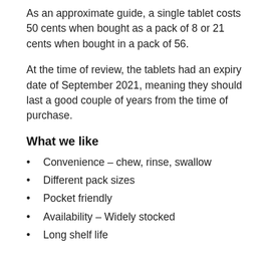As an approximate guide, a single tablet costs 50 cents when bought as a pack of 8 or 21 cents when bought in a pack of 56.
At the time of review, the tablets had an expiry date of September 2021, meaning they should last a good couple of years from the time of purchase.
What we like
Convenience – chew, rinse, swallow
Different pack sizes
Pocket friendly
Availability – Widely stocked
Long shelf life